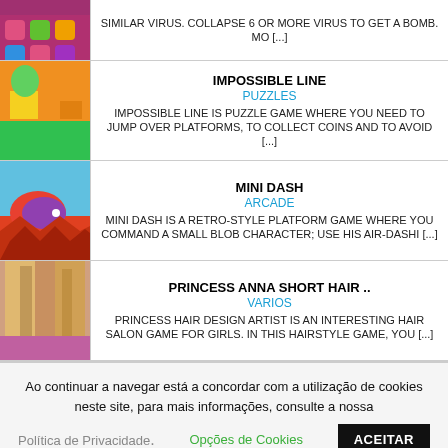SIMILAR VIRUS. COLLAPSE 6 OR MORE VIRUS TO GET A BOMB. MO [...]
IMPOSSIBLE LINE
PUZZLES
IMPOSSIBLE LINE IS PUZZLE GAME WHERE YOU NEED TO JUMP OVER PLATFORMS, TO COLLECT COINS AND TO AVOID [...]
MINI DASH
ARCADE
MINI DASH IS A RETRO-STYLE PLATFORM GAME WHERE YOU COMMAND A SMALL BLOB CHARACTER; USE HIS AIR-DASHI [...]
PRINCESS ANNA SHORT HAIR ..
VARIOS
PRINCESS HAIR DESIGN ARTIST IS AN INTERESTING HAIR SALON GAME FOR GIRLS. IN THIS HAIRSTYLE GAME, YOU [...]
Ao continuar a navegar está a concordar com a utilização de cookies neste site, para mais informações, consulte a nossa
Política de Privacidade.
Opções de Cookies
ACEITAR